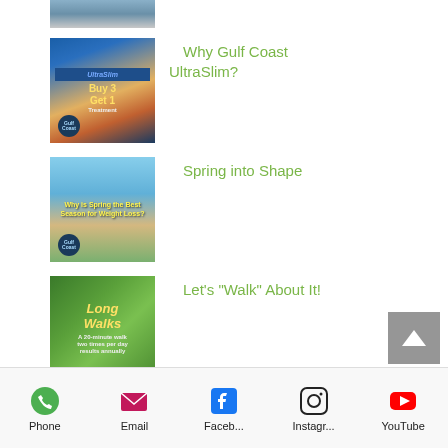[Figure (photo): Partial top image showing bicycle/outdoor scene]
[Figure (photo): UltraSlim promotional image with Buy 3 Get 1 offer and woman in bikini]
Why Gulf Coast UltraSlim?
[Figure (photo): Spring into Shape promotional image with group of friends at beach]
Spring into Shape
[Figure (photo): Long Walks promotional image with couple walking outdoors]
Let's "Walk" About It!
Phone  Email  Faceb...  Instagr...  YouTube